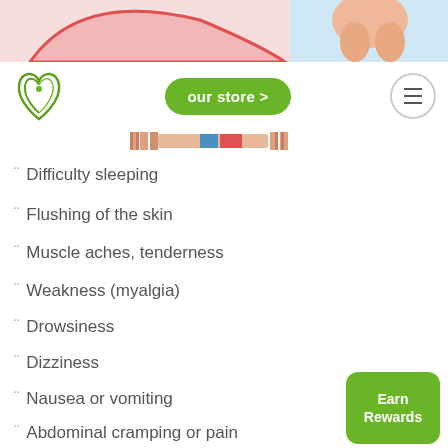[Figure (illustration): Top strip showing a medical illustration: left side has a pink/red anatomical shape on light pink background; right side shows a body anatomy illustration on light blue background.]
Logo | our store > | menu
[Figure (illustration): Decorative colored strip with peach, blue, and skin-tone segments resembling a body cross-section banner.]
Difficulty sleeping
Flushing of the skin
Muscle aches, tenderness
Weakness (myalgia)
Drowsiness
Dizziness
Nausea or vomiting
Abdominal cramping or pain